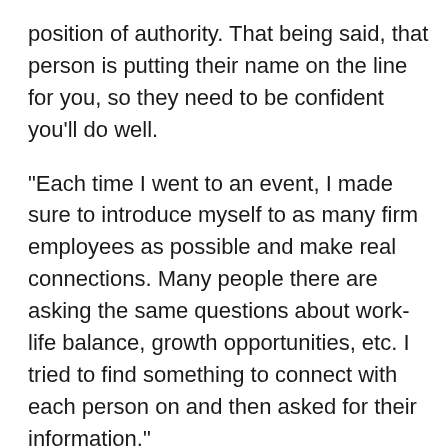position of authority. That being said, that person is putting their name on the line for you, so they need to be confident you'll do well.
“Each time I went to an event, I made sure to introduce myself to as many firm employees as possible and make real connections. Many people there are asking the same questions about work-life balance, growth opportunities, etc. I tried to find something to connect with each person on and then asked for their information.”
Once you meet some of the employees and make a connection, you’ll need to turn that into an opportunity to have your name surface again from them.